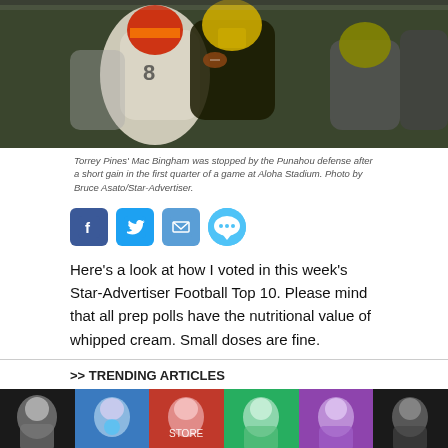[Figure (photo): Football players in action — Torrey Pines' Mac Bingham tackled by Punahou defense at Aloha Stadium. Players in gold/black and white uniforms.]
Torrey Pines' Mac Bingham was stopped by the Punahou defense after a short gain in the first quarter of a game at Aloha Stadium. Photo by Bruce Asato/Star-Advertiser.
[Figure (infographic): Social sharing icons: Facebook, Twitter, Email, Chat/SMS buttons]
Here's a look at how I voted in this week's Star-Advertiser Football Top 10. Please mind that all prep polls have the nutritional value of whipped cream. Small doses are fine.
>> TRENDING ARTICLES
[Figure (photo): Row of six trending article thumbnail photos showing athletes and sports scenes]